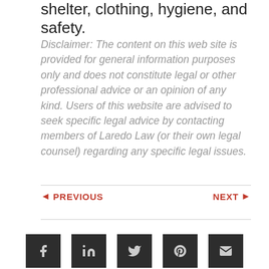shelter, clothing, hygiene, and safety.
Disclaimer: The content on this web site is provided for general information purposes only and does not constitute legal or other professional advice or an opinion of any kind. Users of this website are advised to seek specific legal advice by contacting members of Laredo Law (or their own legal counsel) regarding any specific legal issues.
◄ PREVIOUS    NEXT ►
[Figure (other): Social media share buttons: Facebook, LinkedIn, Twitter, Pinterest, Email]